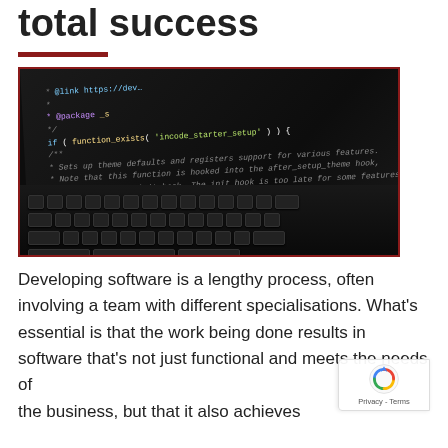total success
[Figure (photo): A laptop screen displaying code in a dark IDE editor with PHP/WordPress-style code visible, with a keyboard in the foreground, in black and white/dark tones.]
Developing software is a lengthy process, often involving a team with different specialisations. What's essential is that the work being done results in software that's not just functional and meets the needs of the business, but that it also achieves